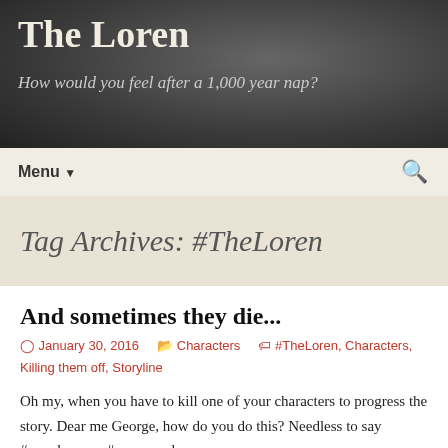The Loren
How would you feel after a 1,000 year nap?
Menu ▼
Tag Archives: #TheLoren
And sometimes they die...
January 30, 2016   Characters   #TheLoren, Characters, Killing them off, Storyline
Oh my, when you have to kill one of your characters to progress the story. Dear me George, how do you do this? Needless to say #mandown or #someonedown or #someplacdown...